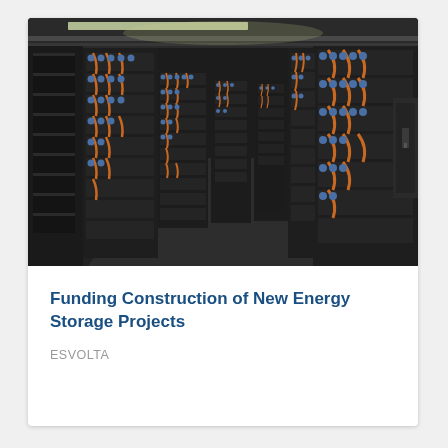[Figure (photo): Interior of a large energy storage facility showing rows of battery storage racks stacked with battery modules connected by orange and blue cables, arranged in a long corridor with dark metal enclosures on both sides.]
Funding Construction of New Energy Storage Projects
ESVOLTA